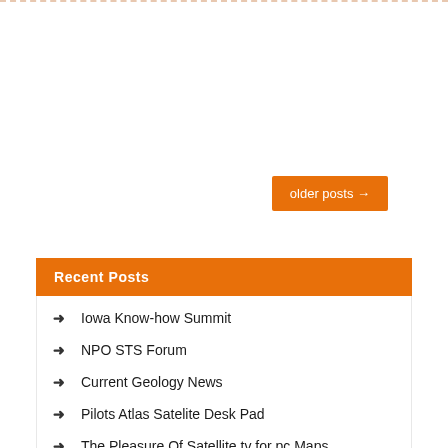older posts →
Search...
Recent Posts
Iowa Know-how Summit
NPO STS Forum
Current Geology News
Pilots Atlas Satelite Desk Pad
The Pleasure Of Satellite tv for pc Maps